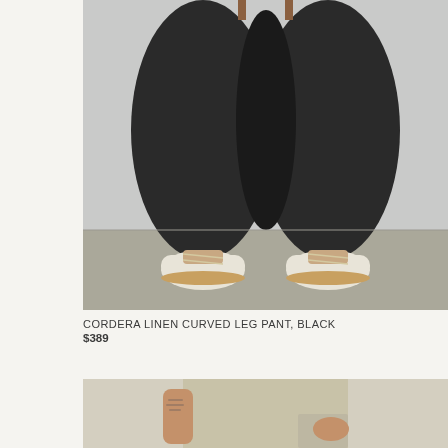[Figure (photo): Lower body shot of a person wearing wide-leg black curved linen pants with white lace-up sneakers, standing on a concrete floor against a light grey wall.]
CORDERA LINEN CURVED LEG PANT, BLACK
$389
[Figure (photo): Partial view of a person wearing a light beige/tan sleeveless top and light-colored pants, showing torso and hand area.]